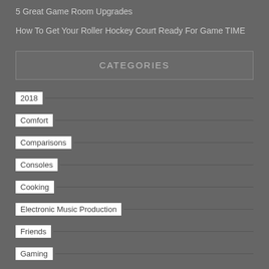5 Great Game Room Upgrades
How To Get Your Roller Hockey Court Ready For Game TIME
CATEGORIES
2018
Comfort
Comparisons
Consoles
Cooking
Electronic Music Production
Friends
Gaming